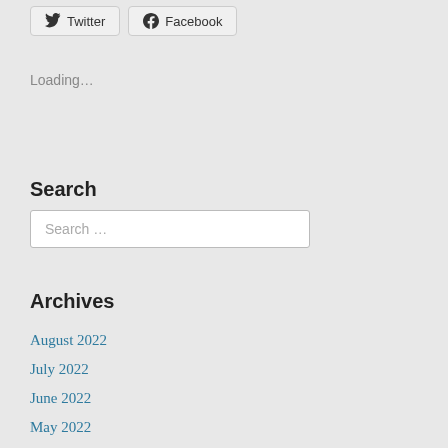Twitter
Facebook
Loading…
Search
Search …
Archives
August 2022
July 2022
June 2022
May 2022